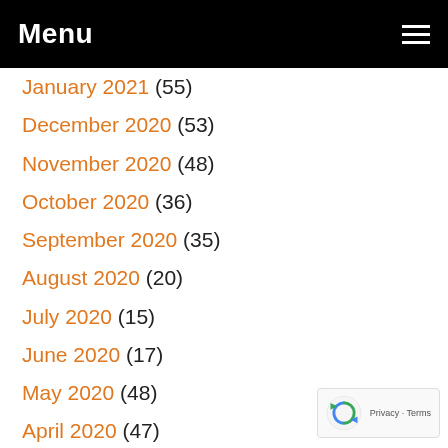Menu
January 2021 (55)
December 2020 (53)
November 2020 (48)
October 2020 (36)
September 2020 (35)
August 2020 (20)
July 2020 (15)
June 2020 (17)
May 2020 (48)
April 2020 (47)
March 2020 (53)
February 2020 (50)
January 2020 (43)
December 2019 (39)